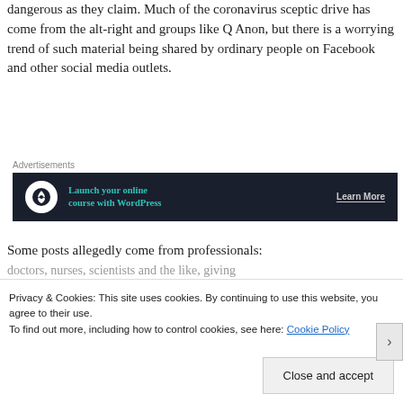dangerous as they claim. Much of the coronavirus sceptic drive has come from the alt-right and groups like Q Anon, but there is a worrying trend of such material being shared by ordinary people on Facebook and other social media outlets.
[Figure (other): Advertisement banner: Launch your online course with WordPress - Learn More]
Some posts allegedly come from professionals: doctors, nurses, scientists and the like, giving
Privacy & Cookies: This site uses cookies. By continuing to use this website, you agree to their use. To find out more, including how to control cookies, see here: Cookie Policy